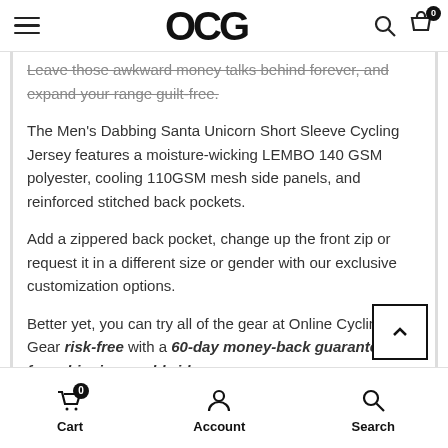OCG (logo header with hamburger menu, search, and cart icons)
Leave those awkward money talks behind forever, and expand your range guilt-free.
The Men's Dabbing Santa Unicorn Short Sleeve Cycling Jersey features a moisture-wicking LEMBO 140 GSM polyester, cooling 110GSM mesh side panels, and reinforced stitched back pockets.
Add a zippered back pocket, change up the front zip or request it in a different size or gender with our exclusive customization options.
Better yet, you can try all of the gear at Online Cycling Gear risk-free with a 60-day money-back guarantee, and free shipping worldwide.
Cart  Account  Search